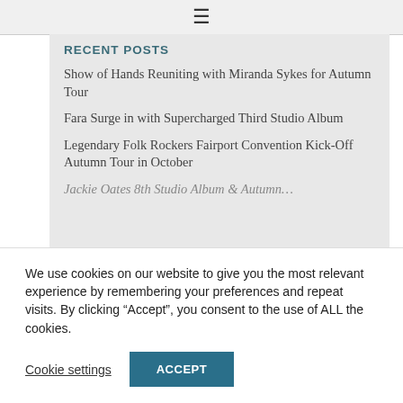≡
RECENT POSTS
Show of Hands Reuniting with Miranda Sykes for Autumn Tour
Fara Surge in with Supercharged Third Studio Album
Legendary Folk Rockers Fairport Convention Kick-Off Autumn Tour in October
Jackie Oates 8th Studio Album & Autumn…
We use cookies on our website to give you the most relevant experience by remembering your preferences and repeat visits. By clicking "Accept", you consent to the use of ALL the cookies.
Cookie settings   ACCEPT